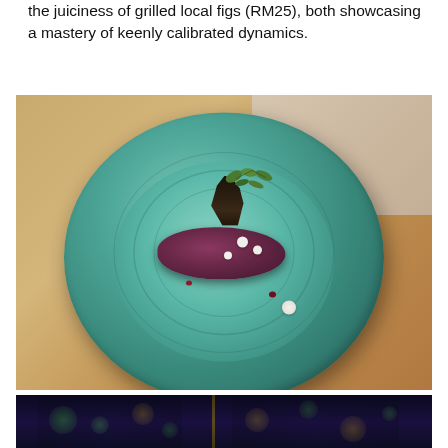the juiciness of grilled local figs (RM25), both showcasing a mastery of keenly calibrated dynamics.
[Figure (photo): A beautifully plated dish on a teal/turquoise ceramic plate. A round ring of dark red/burgundy tartare or similar minced preparation topped with black garnish (possibly grilled fig or mushroom), small white cream dots, and fresh green herb leaves (parsley or similar). The plate sits on a warm wooden table.]
[Figure (photo): Partial view of a dark restaurant interior with bokeh lighting effects — blurred circular lights in green and gold tones against a very dark background, suggesting an atmospheric dining setting.]